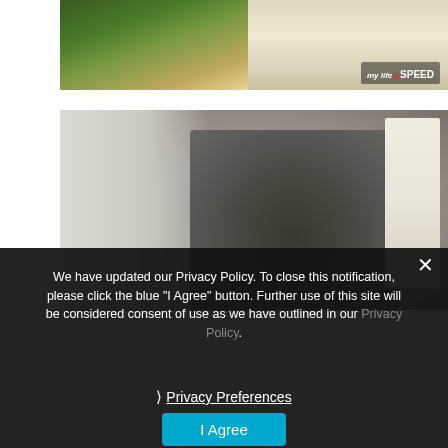[Figure (photo): Top photo strip showing people and trees with 'my life@SPEED' watermark in bottom right corner]
[Figure (photo): Photo of medical/rescue personnel attending to a person on the ground at a motorsport event, with a person in white race suit standing at right]
We have updated our Privacy Policy. To close this notification, please click the blue "I Agree" button. Further use of this site will be considered consent of use as we have outlined in our Privacy Policy.
❯  Privacy Preferences
I Agree